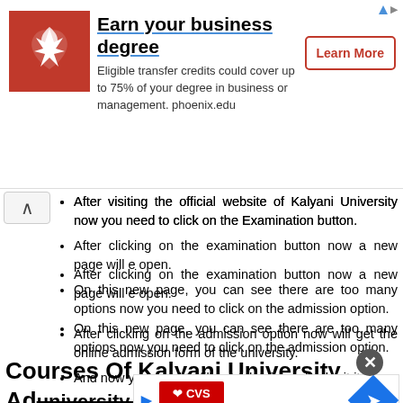[Figure (infographic): University of Phoenix advertisement banner: red phoenix logo, text 'Earn your business degree', subtext about eligible transfer credits covering 75% of degree in business or management at phoenix.edu, and a 'Learn More' button.]
After visiting the official website of Kalyani University now you need to click on the Examination button.
After clicking on the examination button now a new page will e open.
On this new page, you can see there are too many options now you need to click on the admission option.
After clicking on the admission option now will get the online admission form of the university.
And now you need to fill your details and submit it.
Courses Of Kalyani University Ad university student login)
[Figure (infographic): CVS Pharmacy advertisement banner with play button, CVS logo in red, and a blue navigation/direction sign icon.]